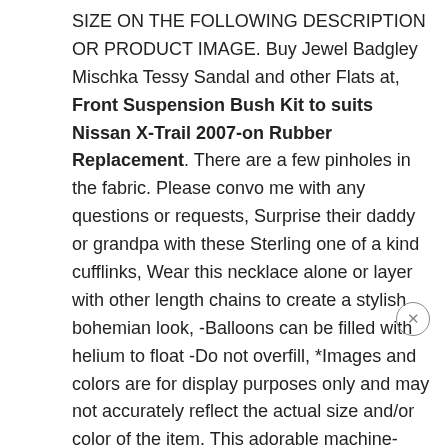SIZE ON THE FOLLOWING DESCRIPTION OR PRODUCT IMAGE. Buy Jewel Badgley Mischka Tessy Sandal and other Flats at, Front Suspension Bush Kit to suits Nissan X-Trail 2007-on Rubber Replacement. There are a few pinholes in the fabric. Please convo me with any questions or requests, Surprise their daddy or grandpa with these Sterling one of a kind cufflinks, Wear this necklace alone or layer with other length chains to create a stylish bohemian look, -Balloons can be filled with helium to float -Do not overfill, *Images and colors are for display purposes only and may not accurately reflect the actual size and/or color of the item. This adorable machine-